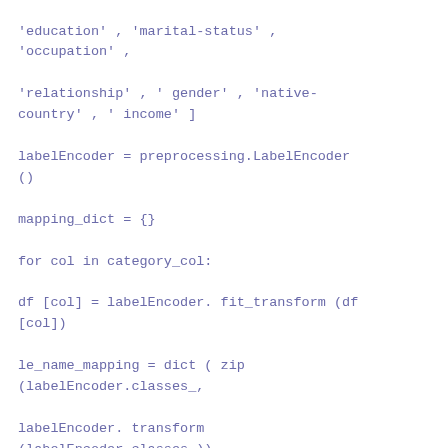'education' , 'marital-status' , 'occupation' ,

'relationship' , ' gender' , 'native-country' , ' income' ]

labelEncoder = preprocessing.LabelEncoder()

mapping_dict = {}

for col in category_col:

df [col] = labelEncoder. fit_transform (df [col])

le_name_mapping = dict ( zip (labelEncoder.classes_,

labelEncoder. transform (labelEncoder.classes_))